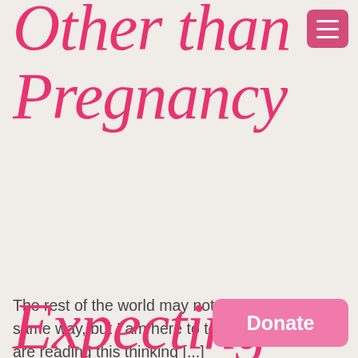Other than Pregnancy
[Figure (other): Hamburger menu button (three horizontal lines on pink/rose background)]
The rest of the world may not always feel the same way, but I am here to tell you that if you are reading this thinking [...]
Read more
Expecting
Donate